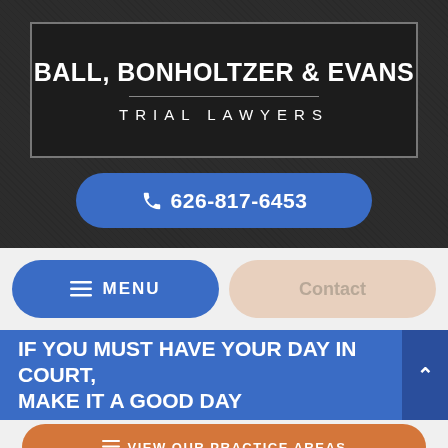[Figure (logo): Ball, Bonholtzer & Evans Trial Lawyers law firm logo on dark background with phone number button]
BALL, BONHOLTZER & EVANS
TRIAL LAWYERS
626-817-6453
≡ MENU
Contact
IF YOU MUST HAVE YOUR DAY IN COURT, MAKE IT A GOOD DAY
≡ VIEW OUR PRACTICE AREAS
It is possible to negotiate an insurance claim